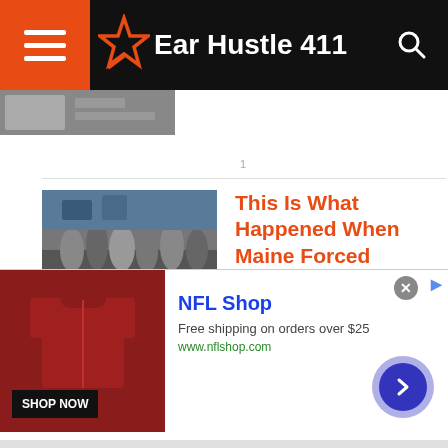Ear Hustle 411
[Figure (photo): Partially visible photo thumbnail at top of page]
[Figure (photo): Crowd of people on a street, welfare recipients]
This Is What Happened When Maine Forced Welfare Recipients To Work For Their Benefits
[Figure (photo): NFL Shop advertisement with jersey product image, Shop Now button, and navigation arrow]
NFL Shop
Free shipping on orders over $25
www.nflshop.com